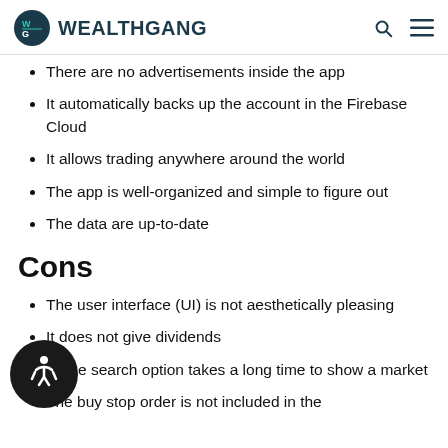WEALTHGANG
There are no advertisements inside the app
It automatically backs up the account in the Firebase Cloud
It allows trading anywhere around the world
The app is well-organized and simple to figure out
The data are up-to-date
Cons
The user interface (UI) is not aesthetically pleasing
It does not give dividends
The search option takes a long time to show a market
The buy stop order is not included in the